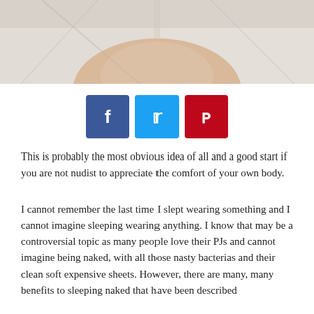[Figure (photo): Close-up photo of a person sleeping in white bed sheets, top portion of page]
[Figure (infographic): Social share buttons: Facebook (blue), Twitter (light blue), Pinterest (red)]
This is probably the most obvious idea of all and a good start if you are not nudist to appreciate the comfort of your own body.
I cannot remember the last time I slept wearing something and I cannot imagine sleeping wearing anything. I know that may be a controversial topic as many people love their PJs and cannot imagine being naked, with all those nasty bacterias and their clean soft expensive sheets. However, there are many, many benefits to sleeping naked that have been described